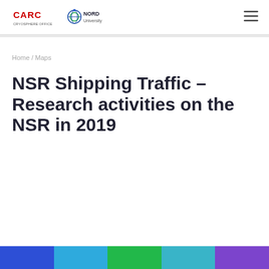CARC logo | Nord University logo
Home / Maps
NSR Shipping Traffic – Research activities on the NSR in 2019